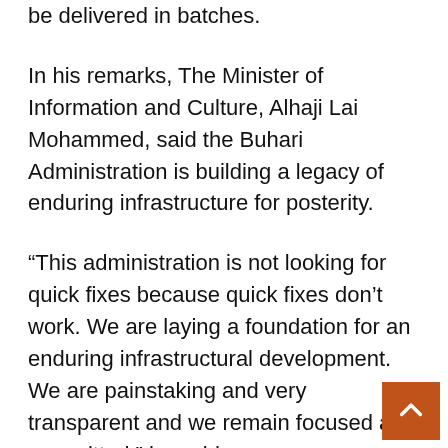be delivered in batches.
In his remarks, The Minister of Information and Culture, Alhaji Lai Mohammed, said the Buhari Administration is building a legacy of enduring infrastructure for posterity.
“This administration is not looking for quick fixes because quick fixes don’t work. We are laying a foundation for an enduring infrastructural development. We are painstaking and very transparent and we remain focused and committed,” he said.
Alhaji Mohammed expressed the confidence tha...